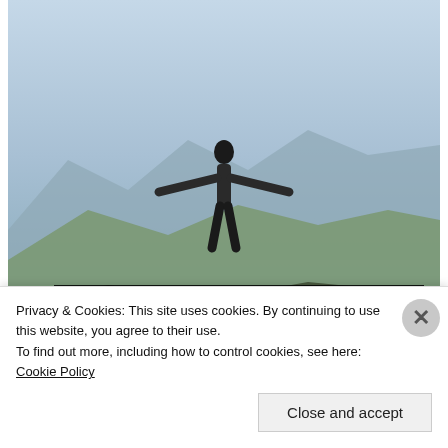[Figure (photo): A person with arms outstretched standing on a hilltop overlooking a mountain landscape at dusk. A media player control bar is overlaid at the bottom with a progress bar and playback buttons.]
Personalized Content Tailored to Your Preferences - All in One Place
Sponsored by Best Next Read
[Figure (photo): Thumbnail of a woman's face for an article.]
The Girl Uploaded A Short Video On TikTok & This
Privacy & Cookies: This site uses cookies. By continuing to use this website, you agree to their use.
To find out more, including how to control cookies, see here: Cookie Policy